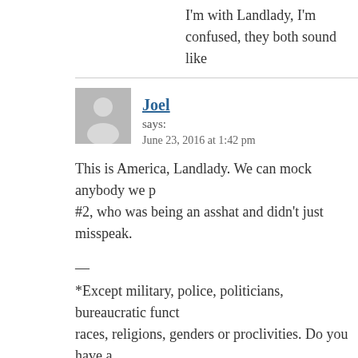I'm with Landlady, I'm confused, they both sound like
Joel says:
June 23, 2016 at 1:42 pm
This is America, Landlady. We can mock anybody we p… #2, who was being an asshat and didn't just misspeak.
—
*Except military, police, politicians, bureaucratic funct… races, religions, genders or proclivities. Do you have a… you want. Unless it's black.
MamaLiberty says:
June 23, 2016 at 1:43 pm
Indeed, MJR… when I first got PGP encryption, some